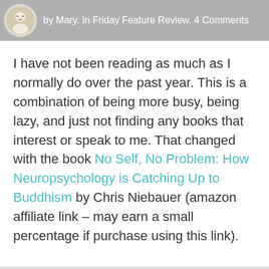by Mary. In Friday Feature Review. 4 Comments
I have not been reading as much as I normally do over the past year. This is a combination of being more busy, being lazy, and just not finding any books that interest or speak to me. That changed with the book No Self, No Problem: How Neuropsychology is Catching Up to Buddhism by Chris Niebauer (amazon affiliate link – may earn a small percentage if purchase using this link).